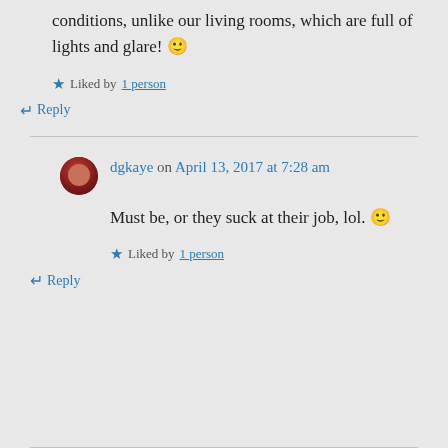conditions, unlike our living rooms, which are full of lights and glare! 🙂
Liked by 1 person
↵ Reply
dgkaye on April 13, 2017 at 7:28 am
Must be, or they suck at their job, lol. 🙂
Liked by 1 person
↵ Reply